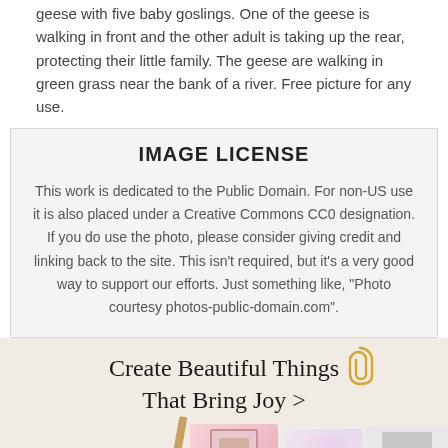geese with five baby goslings. One of the geese is walking in front and the other adult is taking up the rear, protecting their little family. The geese are walking in green grass near the bank of a river. Free picture for any use.
IMAGE LICENSE
This work is dedicated to the Public Domain. For non-US use it is also placed under a Creative Commons CC0 designation. If you do use the photo, please consider giving credit and linking back to the site. This isn't required, but it's a very good way to support our efforts. Just something like, "Photo courtesy photos-public-domain.com".
[Figure (illustration): Advertisement banner with cream/beige background showing greeting cards (Mother's Day, brunch invite, dog mom card) with decorative pencil and paperclip. Text reads 'Create Beautiful Things That Bring Joy >']